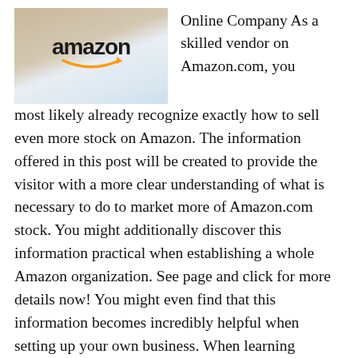[Figure (photo): A smartphone showing the Amazon logo/app on its screen, placed on a light surface.]
Online Company As a skilled vendor on Amazon.com, you most likely already recognize exactly how to sell even more stock on Amazon. The information offered in this post will be created to provide the visitor with a more clear understanding of what is necessary to do to market more of Amazon.com stock. You might additionally discover this information practical when establishing a whole Amazon organization. See page and click for more details now! You might even find that this information becomes incredibly helpful when setting up your own business. When learning exactly how to offer even more Amazon.com